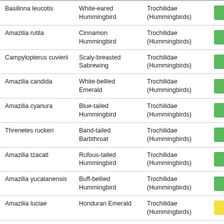| Scientific Name | Common Name | Family | Status |
| --- | --- | --- | --- |
| Basilinna leucotis | White-eared Hummingbird | Trochilidae (Hummingbirds) | LC |
| Amazilia rutila | Cinnamon Hummingbird | Trochilidae (Hummingbirds) | LC |
| Campylopterus cuvierii | Scaly-breasted Sabrewing | Trochilidae (Hummingbirds) | LC |
| Amazilia candida | White-bellied Emerald | Trochilidae (Hummingbirds) | LC |
| Amazilia cyanura | Blue-tailed Hummingbird | Trochilidae (Hummingbirds) | LC |
| Threnetes ruckeri | Band-tailed Barbthroat | Trochilidae (Hummingbirds) | LC |
| Amazilia tzacatl | Rufous-tailed Hummingbird | Trochilidae (Hummingbirds) | LC |
| Amazilia yucatanensis | Buff-bellied Hummingbird | Trochilidae (Hummingbirds) | LC |
| Amazilia luciae | Honduran Emerald | Trochilidae (Hummingbirds) | VU |
| Phaethornis longirostris | Long-billed Hermit | Trochilidae (Hummingbirds) | LC |